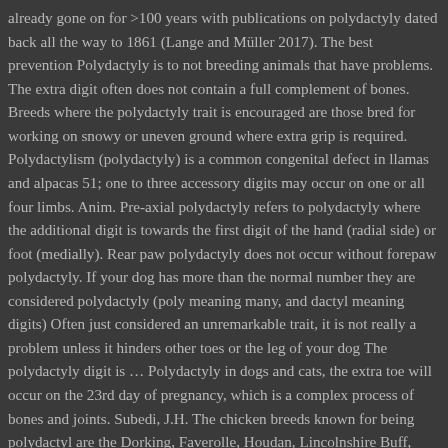already gone on for >100 years with publications on polydactyly dated back all the way to 1861 (Lange and Müller 2017). The best prevention Polydactyly is to not breeding animals that have problems. The extra digit often does not contain a full complement of bones. Breeds where the polydactyly trait is encouraged are those bred for working on snowy or uneven ground where extra grip is required. Polydactylism (polydactyly) is a common congenital defect in llamas and alpacas 51; one to three accessory digits may occur on one or all four limbs. Anim. Pre-axial polydactyly refers to polydactyly where the additional digit is towards the first digit of the hand (radial side) or foot (medially). Rear paw polydactyly does not occur without forepaw polydactyly. If your dog has more than the normal number they are considered polydactyly (poly meaning many, and dactyl meaning digits) Often just considered an unremarkable trait, it is not really a problem unless it hinders other toes or the leg of your dog The polydactyly digit is … Polydactyly in dogs and cats, the extra toe will occur on the 23rd day of pregnancy, which is a complex process of bones and joints. Subedi, J.H. The chicken breeds known for being polydactyl are the Dorking, Faverolle, Houdan, Lincolnshire Buff, Meusienne,